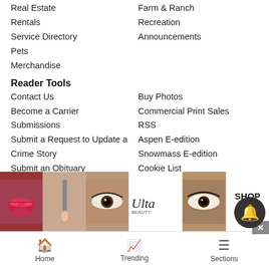Real Estate
Farm & Ranch
Rentals
Recreation
Service Directory
Announcements
Pets
Merchandise
Reader Tools
Contact Us
Buy Photos
Become a Carrier
Commercial Print Sales
Submissions
RSS
Submit a Request to Update a Crime Story
Aspen E-edition
Submit an Obituary
Snowmass E-edition
Cookie List
Advertise
Do not sell my personal information
Archives
Newsletters
News Neighbors
Breckenridge
County
[Figure (photo): Ulta Beauty advertisement banner showing makeup/beauty images with SHOP NOW button]
Home   Trending   Sections